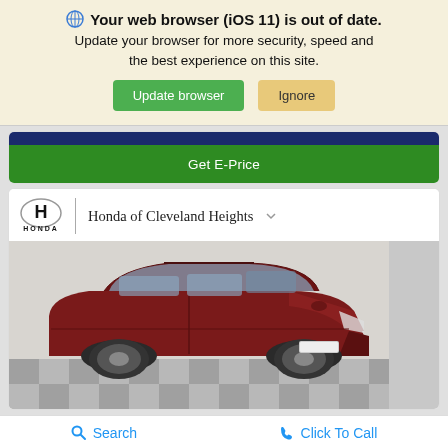Your web browser (iOS 11) is out of date. Update your browser for more security, speed and the best experience on this site.
Update browser
Ignore
Get E-Price
[Figure (photo): Dealership car listing page showing a dark red Honda CR-V SUV parked in a showroom with 'Honda of Cleveland Heights' dealership branding at the top]
Search   Click To Call